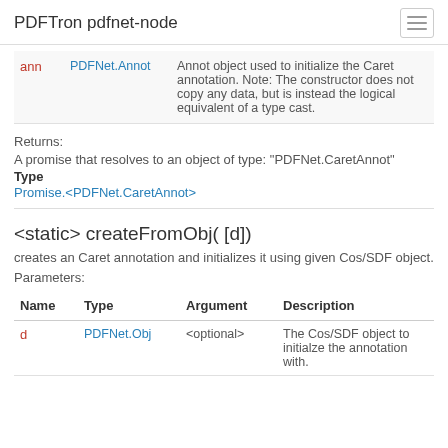PDFTron pdfnet-node
| ann | PDFNet.Annot | Annot object used to initialize the Caret annotation. Note: The constructor does not copy any data, but is instead the logical equivalent of a type cast. |
| --- | --- | --- |
Returns:
A promise that resolves to an object of type: "PDFNet.CaretAnnot"
Type
Promise.<PDFNet.CaretAnnot>
<static> createFromObj( [d])
creates an Caret annotation and initializes it using given Cos/SDF object.
Parameters:
| Name | Type | Argument | Description |
| --- | --- | --- | --- |
| d | PDFNet.Obj | <optional> | The Cos/SDF object to initialze the annotation with. |